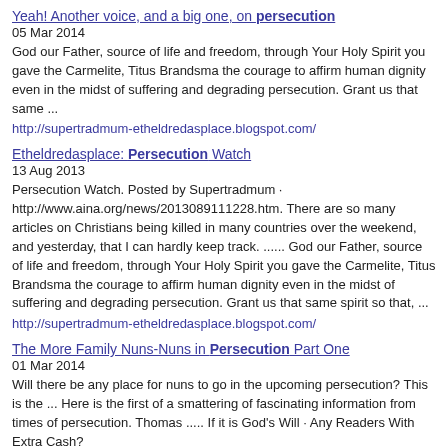Yeah! Another voice, and a big one, on persecution
05 Mar 2014
God our Father, source of life and freedom, through Your Holy Spirit you gave the Carmelite, Titus Brandsma the courage to affirm human dignity even in the midst of suffering and degrading persecution. Grant us that same ...
http://supertradmum-etheldredasplace.blogspot.com/
Etheldredasplace: Persecution Watch
13 Aug 2013
Persecution Watch. Posted by Supertradmum · http://www.aina.org/news/2013089111228.htm. There are so many articles on Christians being killed in many countries over the weekend, and yesterday, that I can hardly keep track. ...... God our Father, source of life and freedom, through Your Holy Spirit you gave the Carmelite, Titus Brandsma the courage to affirm human dignity even in the midst of suffering and degrading persecution. Grant us that same spirit so that, ...
http://supertradmum-etheldredasplace.blogspot.com/
The More Family Nuns-Nuns in Persecution Part One
01 Mar 2014
Will there be any place for nuns to go in the upcoming persecution? This is the ... Here is the first of a smattering of fascinating information from times of persecution. Thomas ..... If it is God's Will · Any Readers With Extra Cash?
http://supertradmum-etheldredasplace.blogspot.com/
Etheldredasplace: Front row seat on Persecution Watch